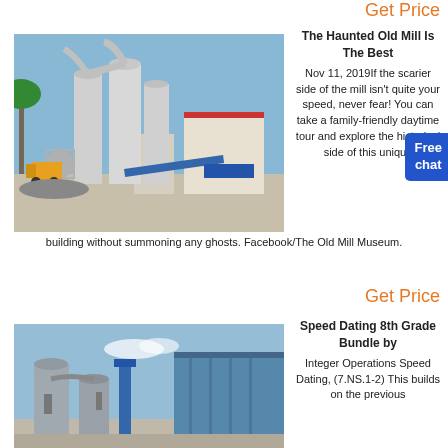Get Price
[Figure (photo): Industrial mill facility with silos, pipes, and construction machinery outdoors under blue sky]
The Haunted Old Mill Is The Best
Nov 11, 2019If the scarier side of the mill isn't quite your speed, never fear! You can take a family-friendly daytime tour and explore the historical side of this unique building without summoning any ghosts. Facebook/The Old Mill Museum.
Get Price
[Figure (photo): Industrial building exterior with silos and blue metal structure against blue sky]
Speed Dating 8th Grade Bundle by
Integer Operations Speed Dating, (7.NS.1-2) This builds on the previous